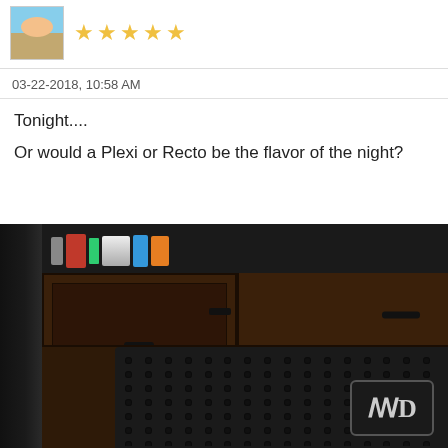[Figure (photo): Avatar thumbnail showing a beach scene with a person, with 5 yellow star rating icons to the right]
03-22-2018, 10:58 AM
Tonight....
Or would a Plexi or Recto be the flavor of the night?
[Figure (photo): Photo of a dark brown wooden cabinet/amp furniture piece with drawers and a metal speaker grille with circular holes. An MD logo badge is visible in the bottom right corner.]